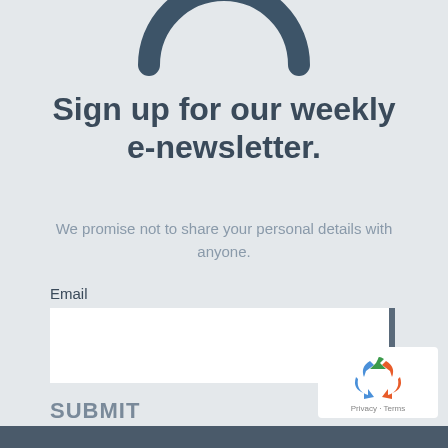[Figure (logo): Partial circular logo icon in dark teal/slate color, cropped at top of page]
Sign up for our weekly e-newsletter.
We promise not to share your personal details with anyone.
Email
[Figure (screenshot): Email input text field with white background and dark vertical bar on right side]
SUBMIT
[Figure (logo): reCAPTCHA badge with recycling-arrow icon and Privacy · Terms text]